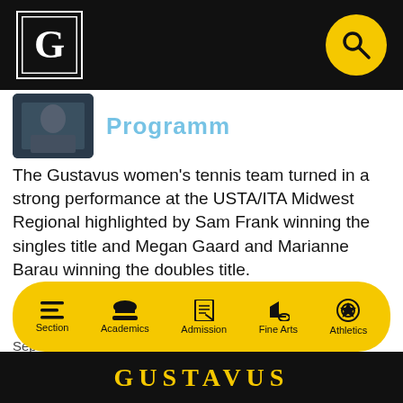Gustavus Adolphus College navigation header with logo and search
[Figure (photo): Thumbnail image of person holding award in dark background, partially visible]
The Gustavus women's tennis team turned in a strong performance at the USTA/ITA Midwest Regional highlighted by Sam Frank winning the singles title and Megan Gaard and Marianne Barau winning the doubles title.
September 26, 2010  |  9:36 pm  |  by Tim Kennedy
← OLDER
Section  Academics  Admission  Fine Arts  Athletics  |  GUSTAVUS